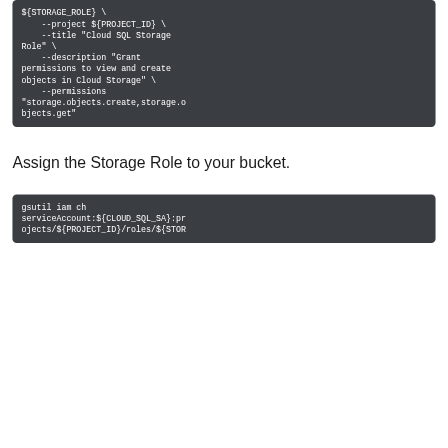[Figure (screenshot): Dark code block showing shell command continuation with --project, --title, --description, and --permissions flags]
Assign the Storage Role to your bucket.
[Figure (screenshot): Dark code block showing gsutil iam ch serviceAccount:${CLOUD_SQL_SA}:projects/${PROJECT_ID}/roles/${STOR...]